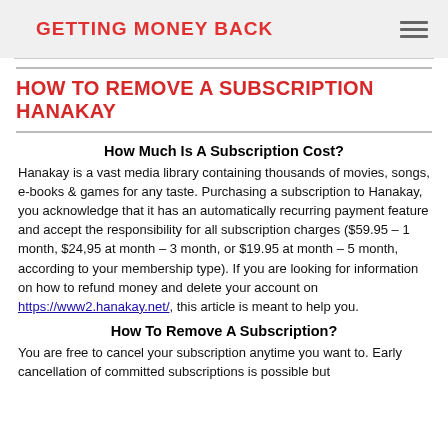GETTING MONEY BACK
HOW TO REMOVE A SUBSCRIPTION HANAKAY
How Much Is A Subscription Cost?
Hanakay is a vast media library containing thousands of movies, songs, e-books & games for any taste. Purchasing a subscription to Hanakay, you acknowledge that it has an automatically recurring payment feature and accept the responsibility for all subscription charges ($59.95 – 1 month, $24,95 at month – 3 month, or $19.95 at month – 5 month, according to your membership type). If you are looking for information on how to refund money and delete your account on https://www2.hanakay.net/, this article is meant to help you.
How To Remove A Subscription?
You are free to cancel your subscription anytime you want to. Early cancellation of committed subscriptions is possible but